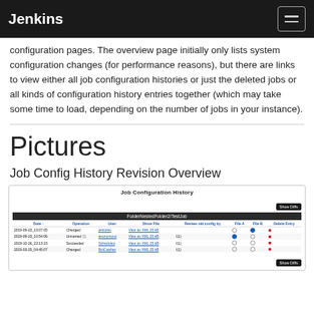Jenkins
configuration pages. The overview page initially only lists system configuration changes (for performance reasons), but there are links to view either all job configuration histories or just the deleted jobs or all kinds of configuration history entries together (which may take some time to load, depending on the number of jobs in your instance).
Pictures
Job Config History Revision Overview
[Figure (screenshot): Screenshot of Jenkins Job Configuration History page showing a table with columns: Date, Operation, User, Show File, Review old config by, File A, File B, Delete Entry. Contains rows for FolderNestedFolder2/TestJob with entries for Changed, Unnamed, Succeeded, Changed operations.]